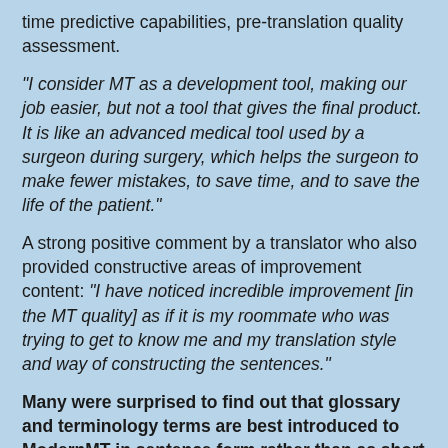time predictive capabilities, pre-translation quality assessment.
"I consider MT as a development tool, making our job easier, but not a tool that gives the final product. It is like an advanced medical tool used by a surgeon during surgery, which helps the surgeon to make fewer mistakes, to save time, and to save the life of the patient."
A strong positive comment by a translator who also provided constructive areas of improvement content: “I have noticed incredible improvement [in the MT quality] as if it is my roommate who was trying to get to know me and my translation style and way of constructing the sentences.”
Many were surprised to find out that glossary and terminology terms are best introduced to ModernMT in sentence form rather than as short phrases as the context and variants shown in sentence-context ensures a faster pick-up and learning.